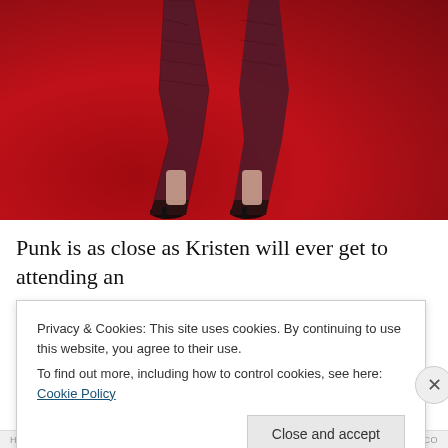[Figure (photo): Close-up photo of a person's legs wearing dark lace/patterned pants and black high heels, standing on a red carpet.]
Punk is as close as Kristen will ever get to attending an angst-themed party (one she should always leave with a
Privacy & Cookies: This site uses cookies. By continuing to use this website, you agree to their use.
To find out more, including how to control cookies, see here: Cookie Policy
Close and accept
HURRISTICS.CO